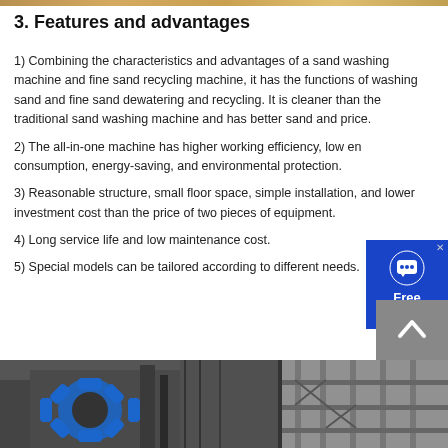[Figure (photo): Thin decorative image strip at the top of the page]
3. Features and advantages
1) Combining the characteristics and advantages of a sand washing machine and fine sand recycling machine, it has the functions of washing sand and fine sand dewatering and recycling. It is cleaner than the traditional sand washing machine and has better sand and price.
2) The all-in-one machine has higher working efficiency, low energy consumption, energy-saving, and environmental protection.
3) Reasonable structure, small floor space, simple installation, and lower investment cost than the price of two pieces of equipment.
4) Long service life and low maintenance cost.
5) Special models can be tailored according to different needs.
[Figure (photo): Two industrial sand washing/recycling machines in a factory setting]